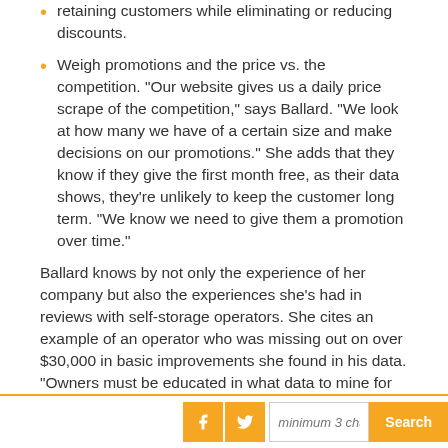retaining customers while eliminating or reducing discounts.
Weigh promotions and the price vs. the competition. “Our website gives us a daily price scrape of the competition,” says Ballard. “We look at how many we have of a certain size and make decisions on our promotions.” She adds that they know if they give the first month free, as their data shows, they’re unlikely to keep the customer long term. “We know we need to give them a promotion over time.”
Ballard knows by not only the experience of her company but also the experiences she’s had in reviews with self-storage operators. She cites an example of an operator who was missing out on over $30,000 in basic improvements she found in his data. “Owners must be educated in what data to mine for money.”
Some of the biggest increases in revenue can be found in this data:
minimum 3 char  Search